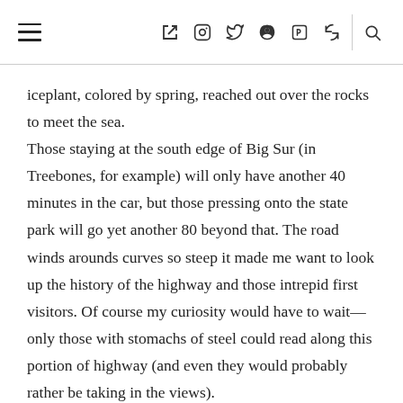☰ f 📷 🐦 𝗽 ))) 🔍
iceplant, colored by spring, reached out over the rocks to meet the sea.
Those staying at the south edge of Big Sur (in Treebones, for example) will only have another 40 minutes in the car, but those pressing onto the state park will go yet another 80 beyond that. The road winds arounds curves so steep it made me want to look up the history of the highway and those intrepid first visitors. Of course my curiosity would have to wait—only those with stomachs of steel could read along this portion of highway (and even they would probably rather be taking in the views).